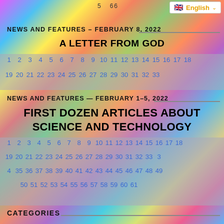5  66  English
NEWS AND FEATURES – FEBRUARY 8, 2022
A LETTER FROM GOD
1 2 3 4 5 6 7 8 9 10 11 12 13 14 15 16 17 18 19 20 21 22 23 24 25 26 27 28 29 30 31 32 33
NEWS AND FEATURES — FEBRUARY 1–5, 2022
FIRST DOZEN ARTICLES ABOUT SCIENCE AND TECHNOLOGY
1 2 3 4 5 6 7 8 9 10 11 12 13 14 15 16 17 18 19 20 21 22 23 24 25 26 27 28 29 30 31 32 33 3 4 35 36 37 38 39 40 41 42 43 44 45 46 47 48 49 50 51 52 53 54 55 56 57 58 59 60 61
CATEGORIES